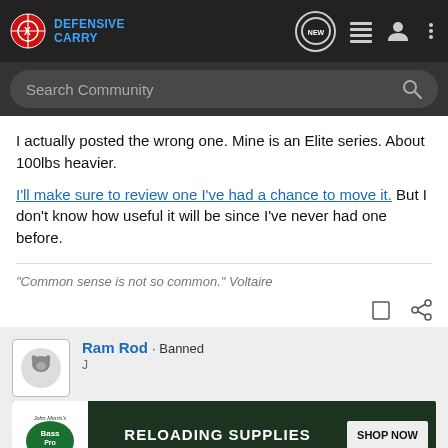Defensive Carry
I actually posted the wrong one. Mine is an Elite series. About 100lbs heavier.
I'll make sure to review one I've had a chance to move it. But I don't know how useful it will be since I've never had one before.
"Common sense is not so common." Voltaire
Ram Rod · Banned
[Figure (screenshot): Bass Pro Shops Reloading Supplies advertisement banner with Shop Now button]